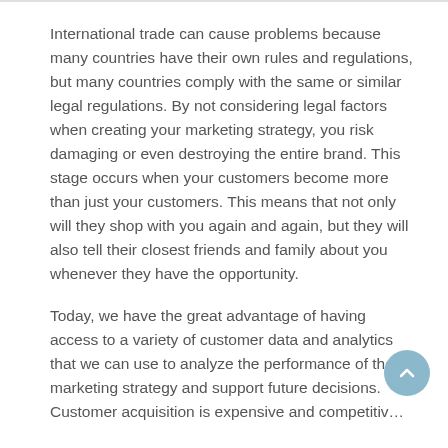International trade can cause problems because many countries have their own rules and regulations, but many countries comply with the same or similar legal regulations. By not considering legal factors when creating your marketing strategy, you risk damaging or even destroying the entire brand. This stage occurs when your customers become more than just your customers. This means that not only will they shop with you again and again, but they will also tell their closest friends and family about you whenever they have the opportunity.
Today, we have the great advantage of having access to a variety of customer data and analytics that we can use to analyze the performance of the marketing strategy and support future decisions. Customer acquisition is expensive and competitive...